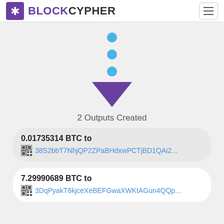[Figure (logo): BlockCypher logo with purple gear icon and BLOCKCYPHER text in purple and dark]
[Figure (infographic): Three blue dots arranged vertically with a purple downward-pointing triangle arrow below them, representing transaction flow]
2 Outputs Created
0.01735314 BTC to
38S2bbT7NhjQP2ZPaBHdxwPCTjBD1QAi2...
7.29990689 BTC to
3DqPyakT6kjceXeBEFGwaXWKtAGun4QQp...